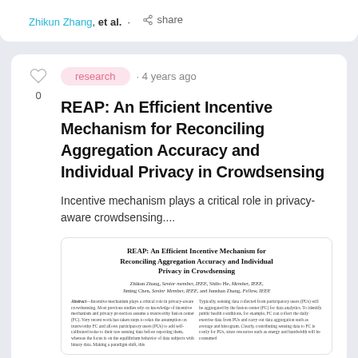Zhikun Zhang, et al. · share
research · 4 years ago
REAP: An Efficient Incentive Mechanism for Reconciling Aggregation Accuracy and Individual Privacy in Crowdsensing
Incentive mechanism plays a critical role in privacy-aware crowdsensing....
[Figure (screenshot): Thumbnail preview of the paper 'REAP: An Efficient Incentive Mechanism for Reconciling Aggregation Accuracy and Individual Privacy in Crowdsensing' showing the paper title, authors (Zhikun Zhang, Shibo He, Jiming Chen, Junshan Zhang), and a two-column abstract text preview.]